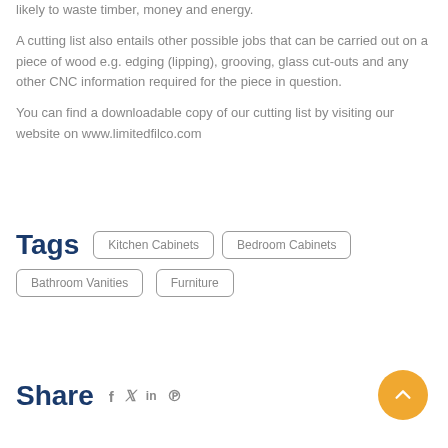likely to waste timber, money and energy.
A cutting list also entails other possible jobs that can be carried out on a piece of wood e.g. edging (lipping), grooving, glass cut-outs and any other CNC information required for the piece in question.
You can find a downloadable copy of our cutting list by visiting our website on www.limitedfilco.com
Tags
Kitchen Cabinets
Bedroom Cabinets
Bathroom Vanities
Furniture
Share